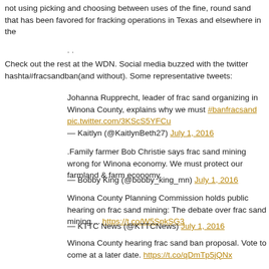not using picking and choosing between uses of the fine, round sand that has been favored for fracking operations in Texas and elsewhere in the
. .
Check out the rest at the WDN. Social media buzzed with the twitter hashtag #fracsandban(and without). Some representative tweets:
Johanna Rupprecht, leader of frac sand organizing in Winona County, explains why we must #banfracsand pic.twitter.com/3KScS5YFCu
— Kaitlyn (@KaitlynBeth27) July 1, 2016
.Family farmer Bob Christie says frac sand mining wrong for Winona economy. We must protect our farmland & farm economy.
— Bobby King (@bobby_king_mn) July 1, 2016
Winona County Planning Commission holds public hearing on frac sand mining: The debate over frac sand mining ... https://t.co/W5SpkSG3
— KTTC News (@KTTCNews) July 1, 2016
Winona County hearing frac sand ban proposal. Vote to come at a later date. https://t.co/qDmTp5jQNx
— Elizabeth Dunbar (@edunbarMPR) July 1, 2016
We'll have more on this story as it develops. Bluestem Prairie has been following Minnesota's frac sand mining debate since 2011.
Photo: The crowd at the hearing at the Tau Center. Photo by Bobby king, v
Bluestem Prairie is conducting its summer fundraising drive. If you ap posts and original analysis, you can mail contributions (payable to S